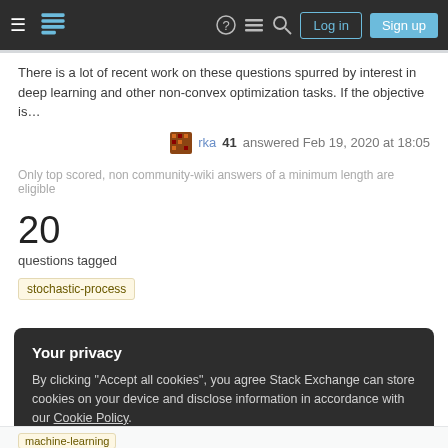Stack Exchange navigation bar with hamburger menu, logo, help, chat, search icons, Log in and Sign up buttons
There is a lot of recent work on these questions spurred by interest in deep learning and other non-convex optimization tasks. If the objective is…
rka 41 answered Feb 19, 2020 at 18:05
Only top scored, non community-wiki answers of a minimum length are eligible
20
questions tagged
stochastic-process
Your privacy
By clicking "Accept all cookies", you agree Stack Exchange can store cookies on your device and disclose information in accordance with our Cookie Policy.
Accept all cookies
Customize settings